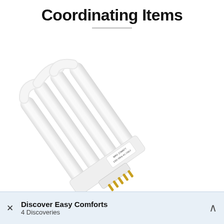Coordinating Items
[Figure (photo): A white quad-tube compact fluorescent lamp (CFL) bulb with gold pins, labeled MAX 27WATT 120V 60Hz AC ONLY, photographed on a white background at an angle.]
× Discover Easy Comforts ^ 4 Discoveries